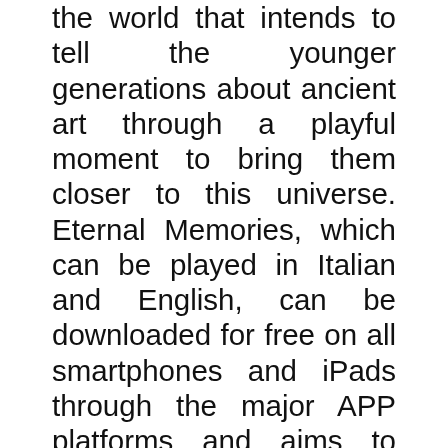the world that intends to tell the younger generations about ancient art through a playful moment to bring them closer to this universe. Eternal Memories, which can be played in Italian and English, can be downloaded for free on all smartphones and iPads through the major APP platforms and aims to reach millions of players around the world among the audience of over 2 billion regular players. The game is produced for
We use cookies on our website to give you the most relevant experience by remembering your preferences and repeat visits. By clicking “Accept All”, you consent to the use of ALL the cookies. However, you may visit "Cookie Settings" to provide a controlled consent.